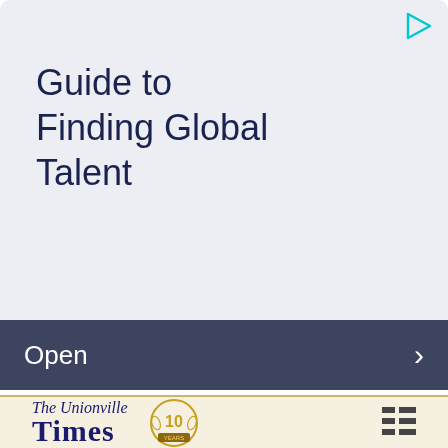[Figure (screenshot): Advertisement banner with light blue-grey background showing title 'Guide to Finding Global Talent' with a play/ad icon in the top right corner]
Guide to Finding Global Talent
Open
[Figure (logo): The Unionville Times newspaper logo with italic script 'The Unionville' above large serif 'Times', accompanied by a gold '10 Years' anniversary badge and a grid/menu icon on the right]